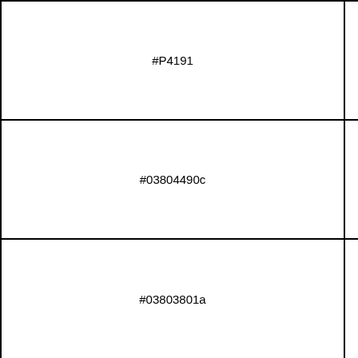| ID | Listing Info | Property Details |
| --- | --- | --- |
| #P4191 | St. Petersburg
Coquina Key
$340,000
SOLD for $312,000
November 2003 | 3BR/2BA
2,032 s
Broad w
Waterfront
[Visual] |
| #03804490c | St. Petersburg
Broadwater
$310,000
SOLD for $305,000
March 2003 | 2,233 sq ft 3
Land Le
Waterfront
[Visual] |
| #03803801a | St. Petersburg
Broadwater
$230,000
SOLD for $223,000
May 2003 | 1,789 s
3 BR/2
Pool
Private
[Visual] |